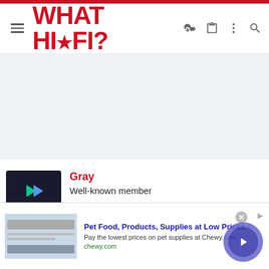WHAT HI-FI? — site navigation header with hamburger menu, logo, and icons
[Figure (screenshot): Gray advertisement placeholder area (light gray background)]
Gray
Well-known member
Nov 27, 2015    3,669    2,930    22,570
[Figure (screenshot): Best Buy advertisement: Save up to $300 with laptop image]
[Figure (screenshot): Chewy.com ad: Pet Food, Products, Supplies at Low Prices - Pay the lowest prices on pet supplies at Chewy.com]